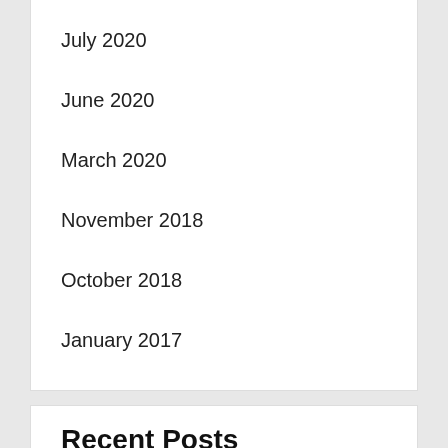July 2020
June 2020
March 2020
November 2018
October 2018
January 2017
Recent Posts
Online Purchasing Myanmar For Mobiles, Electronics Clothes
'No One Will Watch It'